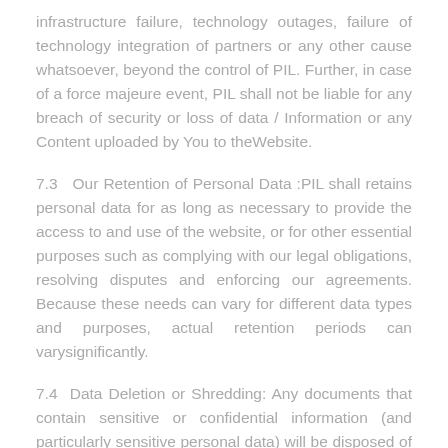infrastructure failure, technology outages, failure of technology integration of partners or any other cause whatsoever, beyond the control of PIL. Further, in case of a force majeure event, PIL shall not be liable for any breach of security or loss of data / Information or any Content uploaded by You to theWebsite.
7.3  Our Retention of Personal Data :PIL shall retains personal data for as long as necessary to provide the access to and use of the website, or for other essential purposes such as complying with our legal obligations, resolving disputes and enforcing our agreements. Because these needs can vary for different data types and purposes, actual retention periods can varysignificantly.
7.4  Data Deletion or Shredding: Any documents that contain sensitive or confidential information (and particularly sensitive personal data) will be disposed of as confidential waste and be subject to secure electronic deletion; some expired or superseded contracts may only warrant in-house